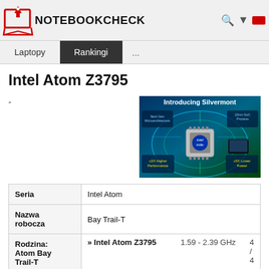NotebookCheck - Laptopy | Rankingi | ...
Intel Atom Z3795
-
[Figure (illustration): Introducing Silvermont - Intel processor marketing image showing Next Gen Microarchitecture, 22nm SoC Process, 3X Higher Performance, 5X Lower Power]
| Property | Value |
| --- | --- |
| Seria | Intel Atom |
| Nazwa robocza | Bay Trail-T |
| Rodzina: Atom Bay Trail-T | » Intel Atom Z3795  1.59 - 2.39 GHz  4 / 4
Intel Atom Z3785  1.49 - 2.41 GHz  4 / 4
Intel Atom Z3775  1.46 - 2.39 GHz  4 / 4
Intel Atom Z3775D  1.49 - 2.41 GHz  4 / 4
Intel Atom Z3770  1.46 - 2.4 GHz  4 / 4 |